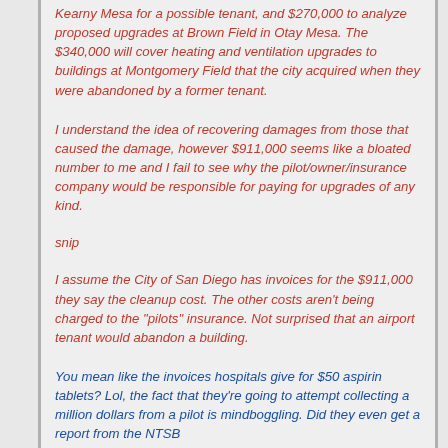Kearny Mesa for a possible tenant, and $270,000 to analyze proposed upgrades at Brown Field in Otay Mesa. The $340,000 will cover heating and ventilation upgrades to buildings at Montgomery Field that the city acquired when they were abandoned by a former tenant.
I understand the idea of recovering damages from those that caused the damage, however $911,000 seems like a bloated number to me and I fail to see why the pilot/owner/insurance company would be responsible for paying for upgrades of any kind.
snip
I assume the City of San Diego has invoices for the $911,000 they say the cleanup cost. The other costs aren't being charged to the "pilots" insurance. Not surprised that an airport tenant would abandon a building.
You mean like the invoices hospitals give for $50 aspirin tablets? Lol, the fact that they're going to attempt collecting a million dollars from a pilot is mindboggling. Did they even get a report from the NTSB